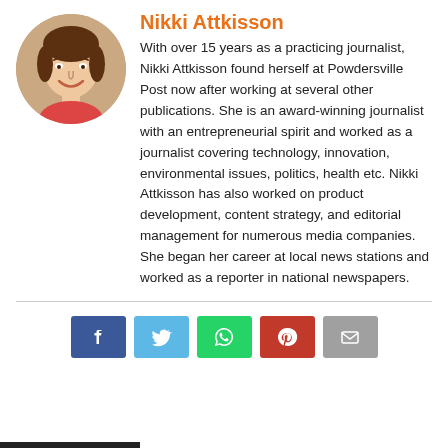[Figure (photo): Circular portrait photo of Nikki Attkisson, a woman with dark hair, smiling]
Nikki Attkisson
With over 15 years as a practicing journalist, Nikki Attkisson found herself at Powdersville Post now after working at several other publications. She is an award-winning journalist with an entrepreneurial spirit and worked as a journalist covering technology, innovation, environmental issues, politics, health etc. Nikki Attkisson has also worked on product development, content strategy, and editorial management for numerous media companies. She began her career at local news stations and worked as a reporter in national newspapers.
[Figure (infographic): Social share buttons row: Facebook (blue), Twitter (light blue), WhatsApp (green), Pinterest (red), Email (grey)]